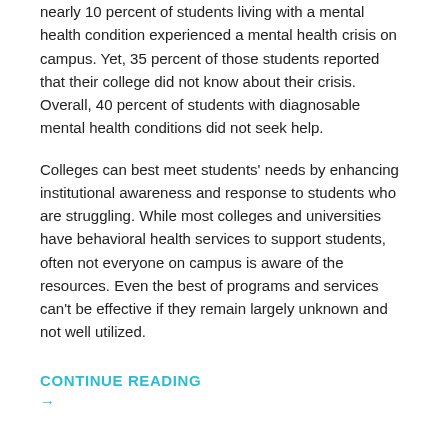nearly 10 percent of students living with a mental health condition experienced a mental health crisis on campus. Yet, 35 percent of those students reported that their college did not know about their crisis. Overall, 40 percent of students with diagnosable mental health conditions did not seek help.
Colleges can best meet students' needs by enhancing institutional awareness and response to students who are struggling. While most colleges and universities have behavioral health services to support students, often not everyone on campus is aware of the resources. Even the best of programs and services can't be effective if they remain largely unknown and not well utilized.
CONTINUE READING →